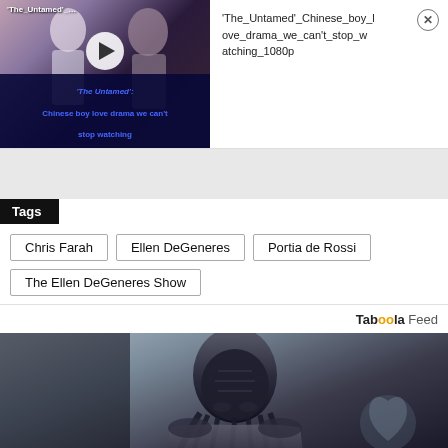[Figure (screenshot): Video thumbnail for 'The Untamed' Chinese boy love drama with play button overlay and title text in blue]
'The_Untamed'_Chinese_boy_love_drama_we_can't_stop_watching_1080p
[Figure (screenshot): Bottom Taboola feed image showing a dark sci-fi figure (Predator-like creature) in grayscale with a heart shape on the right]
Tags
Chris Farah
Ellen DeGeneres
Portia de Rossi
The Ellen DeGeneres Show
Taboola Feed